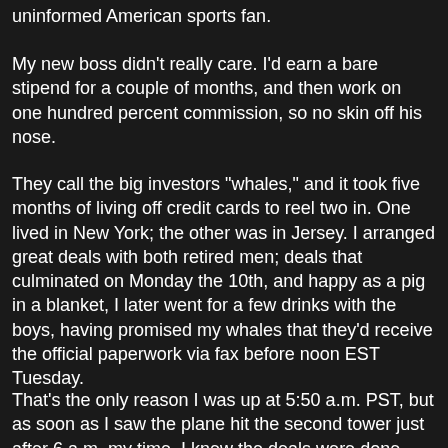uninformed American sports fan.
My new boss didn't really care. I'd earn a bare stipend for a couple of months, and then work on one hundred percent commission, so no skin off his nose.
They call the big investors "whales," and it took five months of living off credit cards to reel two in. One lived in New York; the other was in Jersey. I arranged great deals with both retired men; deals that culminated on Monday the 10th, and happy as a pig in a blanket, I later went for a few drinks with the boys, having promised my whales that they'd receive the official paperwork via fax before noon EST Tuesday.
That's the only reason I was up at 5:50 a.m. PST, but as soon as I saw the plane hit the second tower just after 6 a.m. my time, I knew the deals were done -